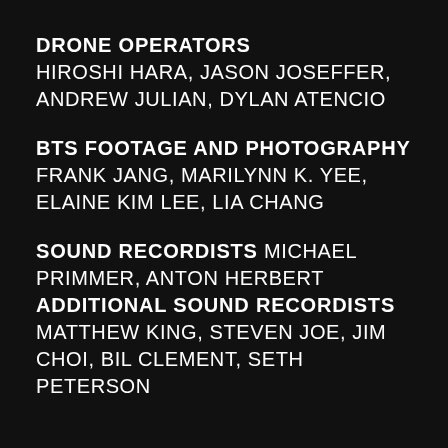DRONE OPERATORS
HIROSHI HARA, JASON JOSEFFER, ANDREW JULIAN, DYLAN ATENCIO
BTS FOOTAGE AND PHOTOGRAPHY
FRANK JANG, MARILYNN K. YEE, ELAINE KIM LEE, LIA CHANG
SOUND RECORDISTS
MICHAEL PRIMMER, ANTON HERBERT
ADDITIONAL SOUND RECORDISTS
MATTHEW KING, STEVEN JOE, JIM CHOI, BIL CLEMENT, SETH PETERSON